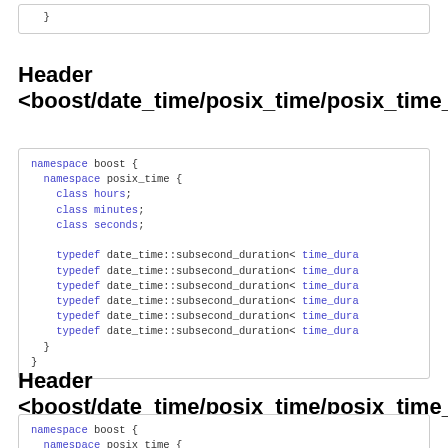}
Header <boost/date_time/posix_time/posix_time_durati
namespace boost {
  namespace posix_time {
    class hours;
    class minutes;
    class seconds;

    typedef date_time::subsecond_duration< time_dura
    typedef date_time::subsecond_duration< time_dura
    typedef date_time::subsecond_duration< time_dura
    typedef date_time::subsecond_duration< time_dura
    typedef date_time::subsecond_duration< time_dura
    typedef date_time::subsecond_duration< time_dura
  }
}
Header <boost/date_time/posix_time/posix_time_io.hpp
namespace boost {
  namespace posix_time {
    typedef boost::date_time::time_facet< ptime, wch